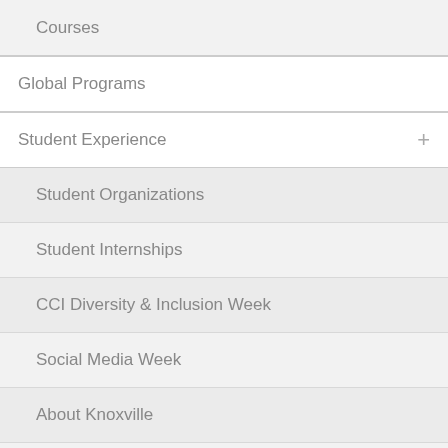Courses
Global Programs
Student Experience
Student Organizations
Student Internships
CCI Diversity & Inclusion Week
Social Media Week
About Knoxville
Campus Quick Facts